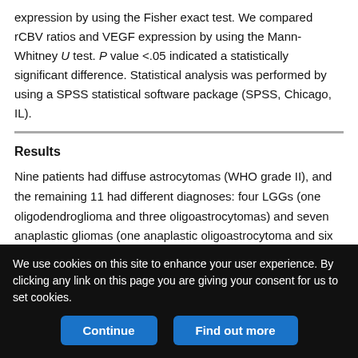expression by using the Fisher exact test. We compared rCBV ratios and VEGF expression by using the Mann-Whitney U test. P value <.05 indicated a statistically significant difference. Statistical analysis was performed by using a SPSS statistical software package (SPSS, Chicago, IL).
Results
Nine patients had diffuse astrocytomas (WHO grade II), and the remaining 11 had different diagnoses: four LGGs (one oligodendroglioma and three oligoastrocytomas) and seven anaplastic gliomas (one anaplastic oligoastrocytoma and six anaplastic astrocytomas).
We use cookies on this site to enhance your user experience. By clicking any link on this page you are giving your consent for us to set cookies.